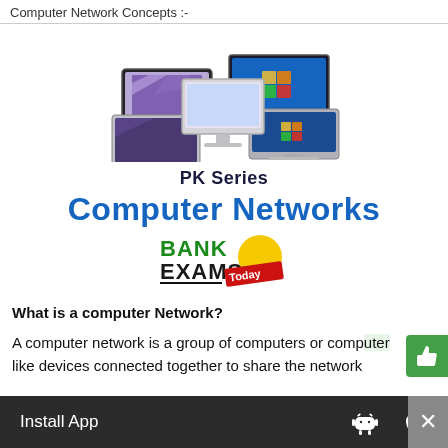Computer Network Concepts :-
[Figure (illustration): Cluster of laptops, desktop monitors and computers arranged together representing a computer network]
PK Series
Computer Networks
[Figure (logo): Bank Exams Today logo with green BANK text, EXAMS text, yellow circle and red Today banner]
What is a computer Network?
A computer network is a group of computers or computer like devices connected together to share the network
Install App  [Android] [Apple]  ×